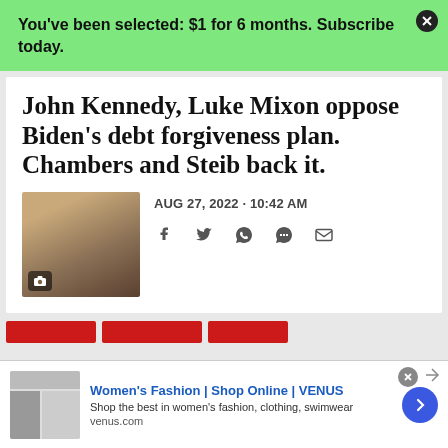You've been selected: $1 for 6 months. Subscribe today.
John Kennedy, Luke Mixon oppose Biden's debt forgiveness plan. Chambers and Steib back it.
AUG 27, 2022 - 10:42 AM
[Figure (photo): Photo of a man in a tan blazer speaking at a podium with a camera icon overlay]
[Figure (infographic): Social share icons: Facebook, Twitter, WhatsApp, comments, email]
[Figure (infographic): Advertisement: Women's Fashion | Shop Online | VENUS. Shop the best in women's fashion, clothing, swimwear. venus.com]